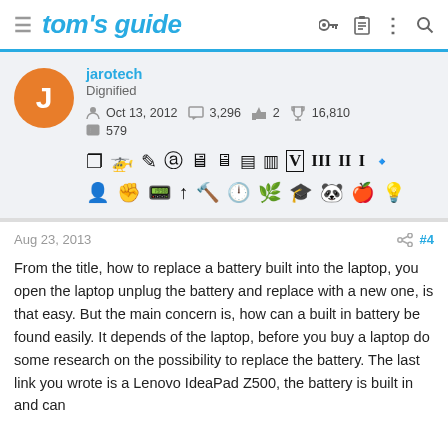tom's guide
jarotech
Dignified
Oct 13, 2012  3,296  2  16,810
579
[Figure (other): User badge/achievement icons strip — two rows of small pictogram icons representing various badges and achievements earned by the user jarotech]
Aug 23, 2013  #4
From the title, how to replace a battery built into the laptop, you open the laptop unplug the battery and replace with a new one, is that easy. But the main concern is, how can a built in battery be found easily. It depends of the laptop, before you buy a laptop do some research on the possibility to replace the battery. The last link you wrote is a Lenovo IdeaPad Z500, the battery is built in and can